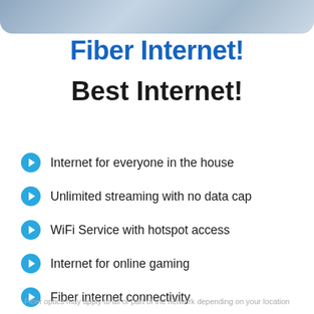[Figure (photo): Cropped photo of people, showing hands/laps, at top of page]
Fiber Internet!
Best Internet!
Internet for everyone in the house
Unlimited streaming with no data cap
WiFi Service with hotspot access
Internet for online gaming
Fiber internet connectivity
Fiber optics may apply to all or part of the network depending on your location